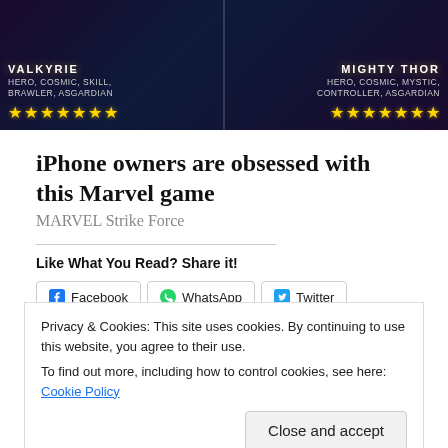[Figure (screenshot): Marvel Strike Force game advertisement banner showing two hero characters (Valkyrie and Mighty Thor) with star ratings, tags: HERO, COSMIC, SKILL, BRAWLER, ASGARDIAN and HERO, COSMIC, MYSTIC, CONTROLLER, ASGARDIAN]
iPhone owners are obsessed with this Marvel game
MARVEL Strike Force
Like What You Read? Share it!
Facebook  WhatsApp  Twitter  LinkedIn  Pinterest  Pocket  Reddit  Tumblr  Email  Print  More
Privacy & Cookies: This site uses cookies. By continuing to use this website, you agree to their use.
To find out more, including how to control cookies, see here: Cookie Policy
Close and accept
Related